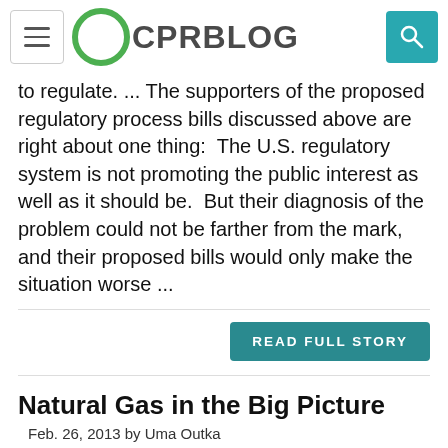CPRBLOG
to regulate. ... The supporters of the proposed regulatory process bills discussed above are right about one thing: The U.S. regulatory system is not promoting the public interest as well as it should be. But their diagnosis of the problem could not be farther from the mark, and their proposed bills would only make the situation worse ...
READ FULL STORY
Natural Gas in the Big Picture
Feb. 26, 2013 by Uma Outka
[Figure (photo): Worker in orange hard hat with welding sparks flying]